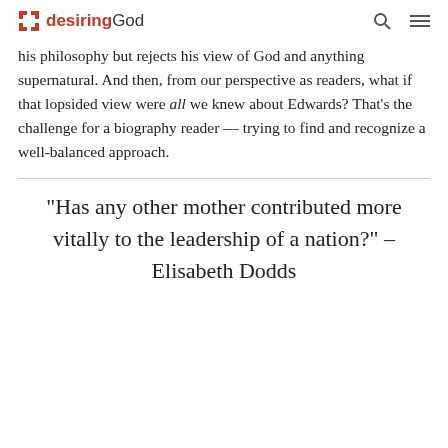desiringGod
his philosophy but rejects his view of God and anything supernatural. And then, from our perspective as readers, what if that lopsided view were all we knew about Edwards? That’s the challenge for a biography reader — trying to find and recognize a well-balanced approach.
“Has any other mother contributed more vitally to the leadership of a nation?” – Elisabeth Dodds